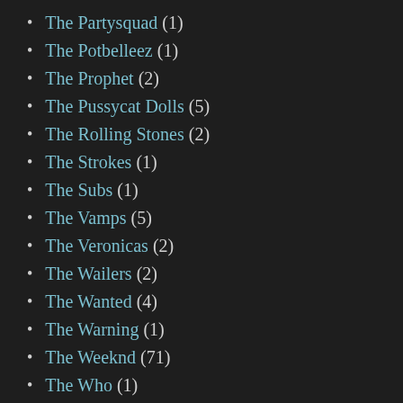The Partysquad (1)
The Potbelleez (1)
The Prophet (2)
The Pussycat Dolls (5)
The Rolling Stones (2)
The Strokes (1)
The Subs (1)
The Vamps (5)
The Veronicas (2)
The Wailers (2)
The Wanted (4)
The Warning (1)
The Weeknd (71)
The Who (1)
Theresa Rex (2)
Thirty Seconds To Mars (1)